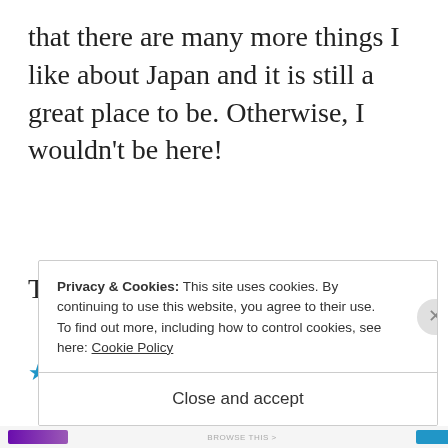that there are many more things I like about Japan and it is still a great place to be. Otherwise, I wouldn't be here!
Thanks for sharing 😀
★ Like
REPLY
Privacy & Cookies: This site uses cookies. By continuing to use this website, you agree to their use.
To find out more, including how to control cookies, see here: Cookie Policy
Close and accept